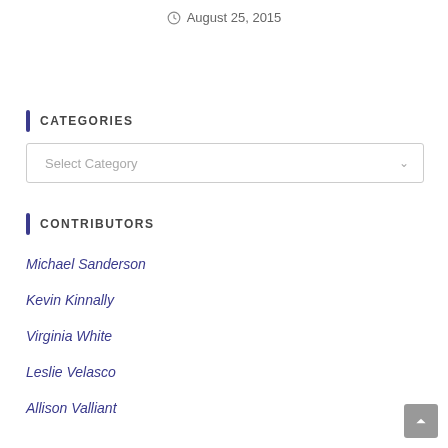August 25, 2015
CATEGORIES
[Figure (other): Select Category dropdown box]
CONTRIBUTORS
Michael Sanderson
Kevin Kinnally
Virginia White
Leslie Velasco
Allison Valliant